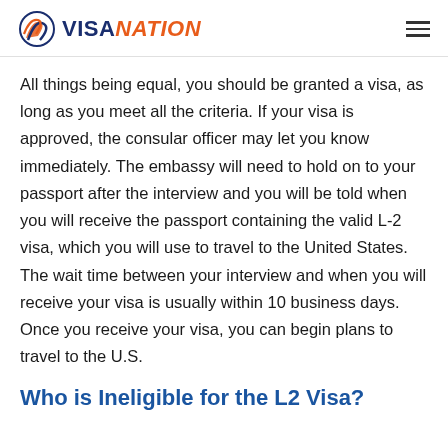VISANATION
All things being equal, you should be granted a visa, as long as you meet all the criteria. If your visa is approved, the consular officer may let you know immediately. The embassy will need to hold on to your passport after the interview and you will be told when you will receive the passport containing the valid L-2 visa, which you will use to travel to the United States. The wait time between your interview and when you will receive your visa is usually within 10 business days. Once you receive your visa, you can begin plans to travel to the U.S.
Who is Ineligible for the L2 Visa?